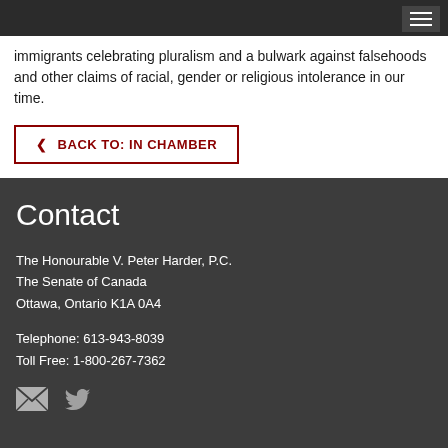immigrants celebrating pluralism and a bulwark against falsehoods and other claims of racial, gender or religious intolerance in our time.
< BACK TO: IN CHAMBER
Contact
The Honourable V. Peter Harder, P.C.
The Senate of Canada
Ottawa, Ontario K1A 0A4
Telephone: 613-943-8039
Toll Free: 1-800-267-7362
[Figure (infographic): Email and Twitter social media icons]